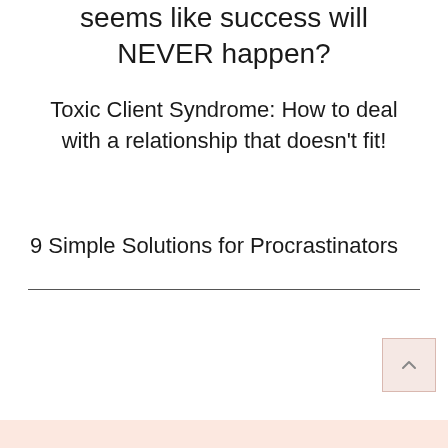seems like success will NEVER happen?
Toxic Client Syndrome: How to deal with a relationship that doesn't fit!
9 Simple Solutions for Procrastinators
[Figure (other): Back to top button - a small square button with an upward-pointing caret/arrow symbol, light pink background with a thin border]